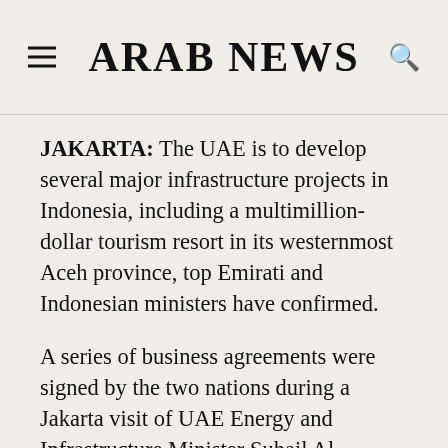ARAB NEWS
JAKARTA: The UAE is to develop several major infrastructure projects in Indonesia, including a multimillion-dollar tourism resort in its westernmost Aceh province, top Emirati and Indonesian ministers have confirmed.
A series of business agreements were signed by the two nations during a Jakarta visit of UAE Energy and Infrastructure Minister Suhail Al-Mazroui on Friday. The agreements are a part of a $22.9 billion deal signed during Indonesian President Joko Widodo's Abu Dhabi visit in January last year. The investment deal, also covering energy, infrastructure and mining, is seen as the biggest in Indonesia's history.